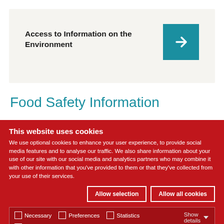[Figure (screenshot): Banner with text 'Access to Information on the Environment' and a teal arrow button on the right, on a light beige background]
Food Safety Information
This website uses cookies
We use optional cookies to enhance your user experience, to provide social media features and to analyse our traffic. We also share information about your use of our site with our social media and analytics partners who may combine it with other information that you've provided to them or that they've collected from your use of their services.
Allow selection | Allow all cookies | Necessary | Preferences | Statistics | Marketing | Show details